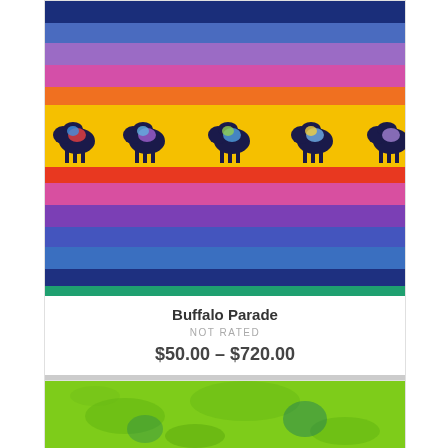[Figure (illustration): Colorful horizontal stripe painting with buffalo/bison silhouettes walking across a yellow band. Stripes from top: dark blue, medium blue, lavender/purple, pink/magenta, orange, yellow (with buffalo), red/orange, magenta, purple, blue, medium blue, teal/green.]
Buffalo Parade
NOT RATED
$50.00 – $720.00
SELECT OPTIONS
[Figure (photo): Bright lime green abstract painting, partially visible at the bottom of the page.]